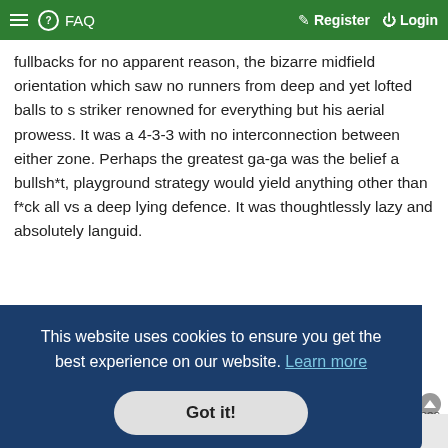≡ ? FAQ    Register  Login
fullbacks for no apparent reason, the bizarre midfield orientation which saw no runners from deep and yet lofted balls to s striker renowned for everything but his aerial prowess. It was a 4-3-3 with no interconnection between either zone. Perhaps the greatest ga-ga was the belief a bullsh*t, playground strategy would yield anything other than f*ck all vs a deep lying defence. It was thoughtlessly lazy and absolutely languid.
platinum
Eagler
★★
Re: @BeniTx et al, Lets talk tactics: World Cup 2014
This website uses cookies to ensure you get the best experience on our website. Learn more
Got it!
Moses
use of
ation
no runners from deep and